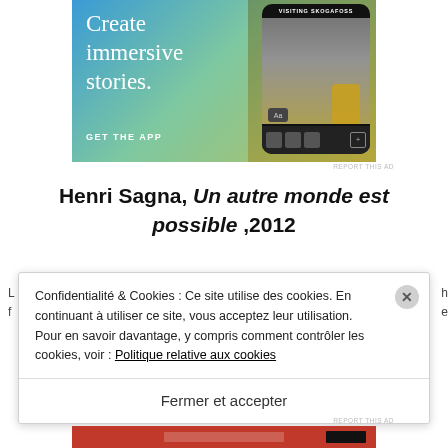[Figure (photo): App advertisement banner with 'Create immersive stories. GET THE APP' text on blue-green gradient background with smartphone showing waterfall scene labeled 'VISITING SKOGAFOSS']
Henri Sagna, Un autre monde est possible ,2012
Confidentialité & Cookies : Ce site utilise des cookies. En continuant à utiliser ce site, vous acceptez leur utilisation.
Pour en savoir davantage, y compris comment contrôler les cookies, voir : Politique relative aux cookies
Fermer et accepter